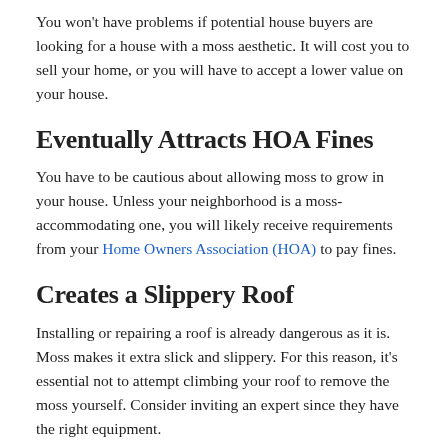You won't have problems if potential house buyers are looking for a house with a moss aesthetic. It will cost you to sell your home, or you will have to accept a lower value on your house.
Eventually Attracts HOA Fines
You have to be cautious about allowing moss to grow in your house. Unless your neighborhood is a moss-accommodating one, you will likely receive requirements from your Home Owners Association (HOA) to pay fines.
Creates a Slippery Roof
Installing or repairing a roof is already dangerous as it is. Moss makes it extra slick and slippery. For this reason, it's essential not to attempt climbing your roof to remove the moss yourself. Consider inviting an expert since they have the right equipment.